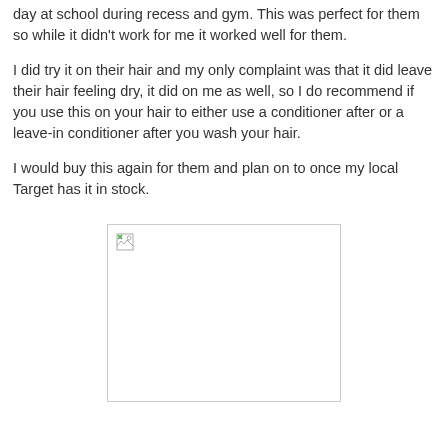day at school during recess and gym. This was perfect for them so while it didn't work for me it worked well for them.
I did try it on their hair and my only complaint was that it did leave their hair feeling dry, it did on me as well, so I do recommend if you use this on your hair to either use a conditioner after or a leave-in conditioner after you wash your hair.
I would buy this again for them and plan on to once my local Target has it in stock.
[Figure (photo): Broken image placeholder — product photo not loaded]